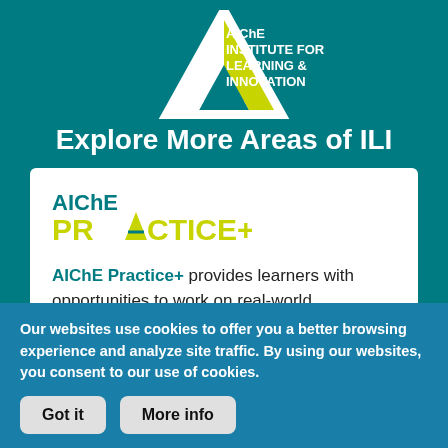[Figure (logo): AIChE Institute for Learning & Innovation logo with triangle/mountain shape in white and yellow-green on teal background]
Explore More Areas of ILI
[Figure (logo): AIChE PRACTICE+ logo — AIChE in teal, PRACTICE+ in yellow-green]
AIChE Practice+ provides learners with opportunities to work on real-world challenges through industry internships and competitions
Our websites use cookies to offer you a better browsing experience and analyze site traffic. By using our websites, you consent to our use of cookies.